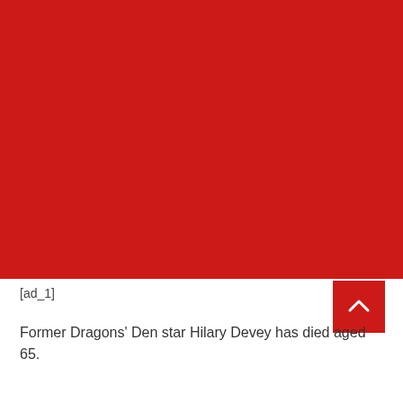[Figure (other): Large solid red/crimson rectangle filling the top portion of the page]
[ad_1]
Former Dragons' Den star Hilary Devey has died aged 65.